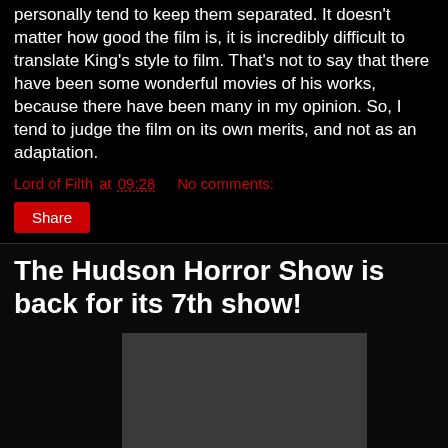personally tend to keep them separated. It doesn't matter how good the film is, it is incredibly difficult to translate King's style to film. That's not to say that there have been some wonderful movies of his works, because there have been many in my opinion. So, I tend to judge the film on its own merits, and not as an adaptation.
Lord of Filth at 09:28    No comments:
Share
The Hudson Horror Show is back for its 7th show!
[Figure (photo): Dark gray rectangular image placeholder for an embedded video or photo]